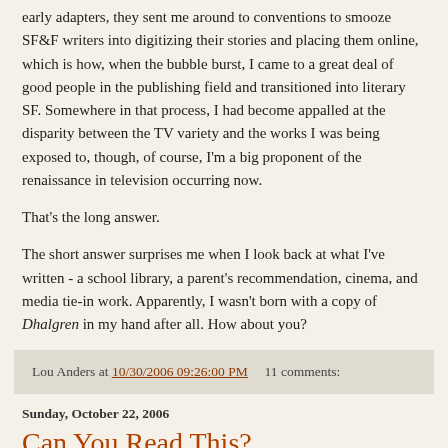early adapters, they sent me around to conventions to smooze SF&F writers into digitizing their stories and placing them online, which is how, when the bubble burst, I came to a great deal of good people in the publishing field and transitioned into literary SF. Somewhere in that process, I had become appalled at the disparity between the TV variety and the works I was being exposed to, though, of course, I'm a big proponent of the renaissance in television occurring now.

That's the long answer.

The short answer surprises me when I look back at what I've written - a school library, a parent's recommendation, cinema, and media tie-in work. Apparently, I wasn't born with a copy of Dhalgren in my hand after all. How about you?
Lou Anders at 10/30/2006 09:26:00 PM    11 comments:
Sunday, October 22, 2006
Can You Read This?